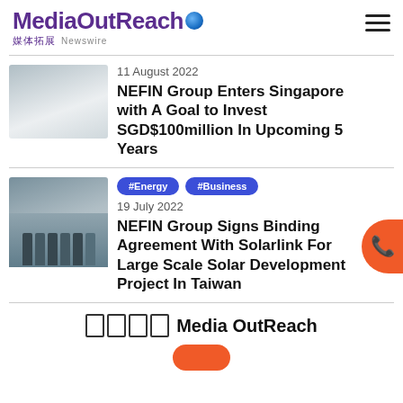MediaOutReach 媒体拓展 Newswire
[Figure (photo): Thumbnail image for NEFIN Group Singapore article]
11 August 2022
NEFIN Group Enters Singapore with A Goal to Invest SGD$100million In Upcoming 5 Years
#Energy
#Business
[Figure (photo): Group photo of people at signing ceremony]
19 July 2022
NEFIN Group Signs Binding Agreement With Solarlink For Large Scale Solar Development Project In Taiwan
媒体拓展 Media OutReach